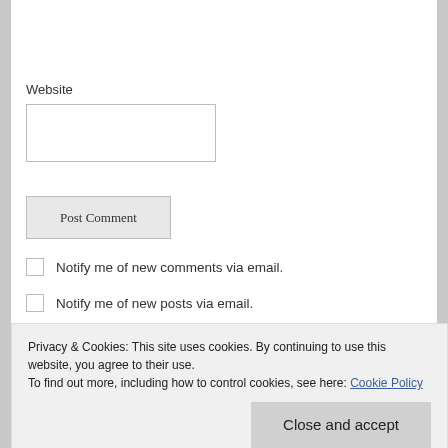Website
Post Comment
Notify me of new comments via email.
Notify me of new posts via email.
Privacy & Cookies: This site uses cookies. By continuing to use this website, you agree to their use.
To find out more, including how to control cookies, see here: Cookie Policy
Close and accept
A Power Stronger Than Itself: Sounds For Communi